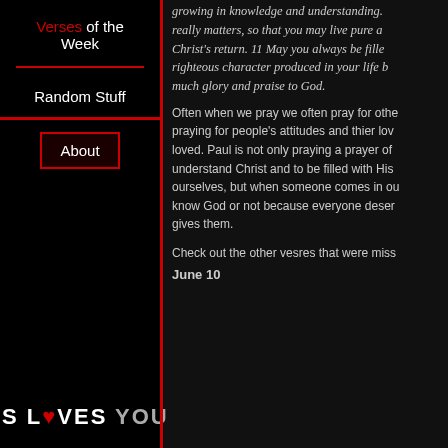Verses of the Week
Random Stuff
About
[Figure (illustration): Red heart cluster / splatter art on black background forming a cross-like shape with multiple heart outlines]
S LOVES YOU
growing in knowledge and understanding. really matters, so that you may live pure a Christ's return. 11 May you always be fille righteous character produced in your life b much glory and praise to God.
Often when we pray we often pray for othe praying for people's attitudes and thier lov loved. Paul is not only praying a prayer of understand Christ and to be filled with His ourselves, but when someone comes in ou know God or not because everyone deser gives them.
Check out the other vesres that were miss
June 10